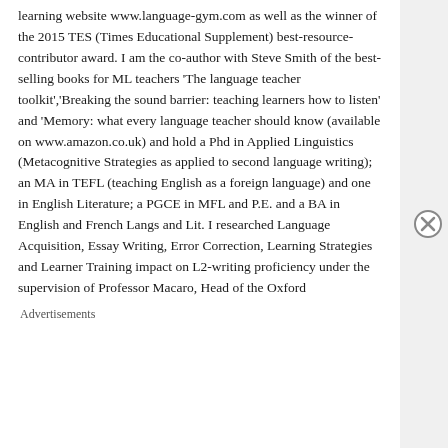learning website www.language-gym.com as well as the winner of the 2015 TES (Times Educational Supplement) best-resource-contributor award. I am the co-author with Steve Smith of the best- selling books for ML teachers 'The language teacher toolkit','Breaking the sound barrier: teaching learners how to listen' and 'Memory: what every language teacher should know (available on www.amazon.co.uk) and hold a Phd in Applied Linguistics (Metacognitive Strategies as applied to second language writing); an MA in TEFL (teaching English as a foreign language) and one in English Literature; a PGCE in MFL and P.E. and a BA in English and French Langs and Lit. I researched Language Acquisition, Essay Writing, Error Correction, Learning Strategies and Learner Training impact on L2-writing proficiency under the supervision of Professor Macaro, Head of the Oxford
Advertisements